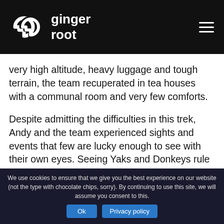[Figure (logo): Ginger Root logo: white stylized double-G icon with brand name 'ginger root' in white text on black background, hamburger menu icon on right]
very high altitude, heavy luggage and tough terrain, the team recuperated in tea houses with a communal room and very few comforts.
Despite admitting the difficulties in this trek, Andy and the team experienced sights and events that few are lucky enough to see with their own eyes. Seeing Yaks and Donkeys rule the mountain, suspension bridges with several hundred feet of freezing rivers and rocks below and the astounding beauty of the mountain itself, are memories they will keep forever.
We use cookies to ensure that we give you the best experience on our website (not the type with chocolate chips, sorry). By continuing to use this site, we will assume you consent to this.